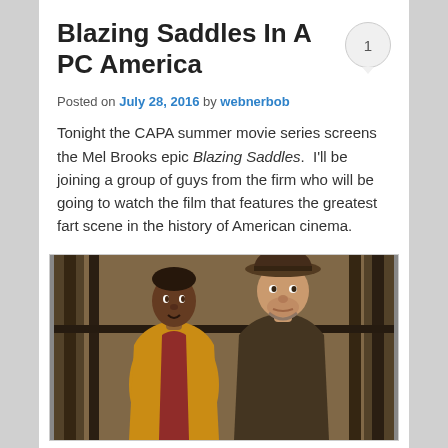Blazing Saddles In A PC America
Posted on July 28, 2016 by webnerbob
Tonight the CAPA summer movie series screens the Mel Brooks epic Blazing Saddles.  I'll be joining a group of guys from the firm who will be going to watch the film that features the greatest fart scene in the history of American cinema.
[Figure (photo): Still from Blazing Saddles showing two actors in western costumes, one in a yellow jacket and one in a cowboy hat and dark clothing, facing each other]